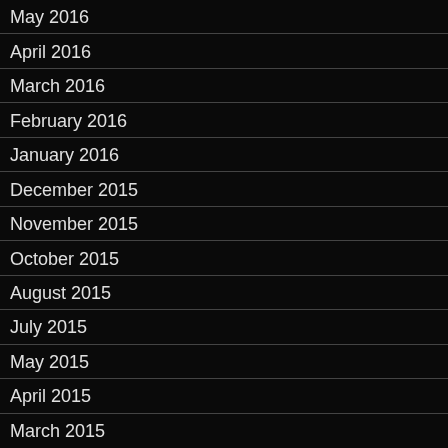May 2016
April 2016
March 2016
February 2016
January 2016
December 2015
November 2015
October 2015
August 2015
July 2015
May 2015
April 2015
March 2015